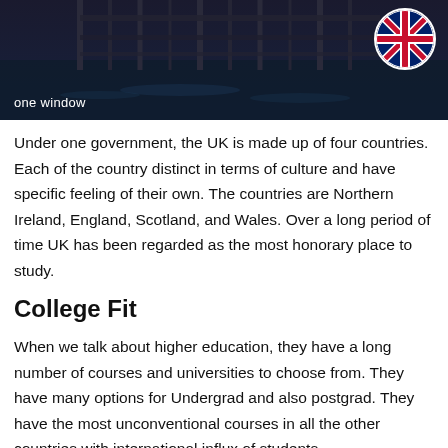[Figure (photo): Dark banner image showing a bridge or structure at night, with a UK flag circle in the top right and 'one window' text overlay at bottom left]
Under one government, the UK is made up of four countries. Each of the country distinct in terms of culture and have specific feeling of their own. The countries are Northern Ireland, England, Scotland, and Wales. Over a long period of time UK has been regarded as the most honorary place to study.
College Fit
When we talk about higher education, they have a long number of courses and universities to choose from. They have many options for Undergrad and also postgrad. They have the most unconventional courses in all the other countries with international influx of students.